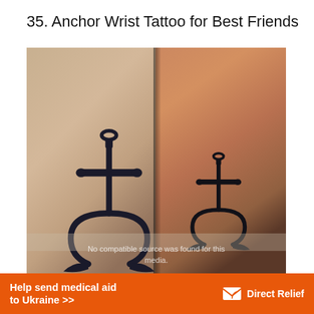35. Anchor Wrist Tattoo for Best Friends
[Figure (photo): Two wrists side by side showing matching anchor tattoos. The left wrist has a larger anchor tattoo on lighter skin, and the right wrist has a smaller anchor tattoo on darker/more tan skin. A watermark reads 'No compatible source was found for this media.']
No compatible source was found for this media.
Help send medical aid to Ukraine >>    Direct Relief